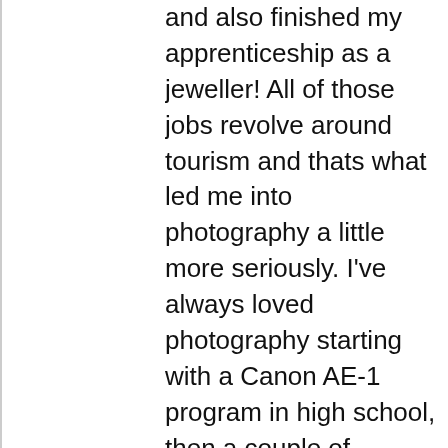and also finished my apprenticeship as a jeweller! All of those jobs revolve around tourism and thats what led me into photography a little more seriously. I've always loved photography starting with a Canon AE-1 program in high school, then a couple of Olympus Pen cameras and finally ending up with a Fujifilm X-T1 two years ago. The landscape up here draws me out to explore and try and capture it and to share that with people who haven't experienced it before. The ancient rock formations and abundant water make me feel insignificant and humble. One of my goals is to promote the area through imagery, and I do a lot of photography for our businesses social media 'selling the Kimberley dream' but also photography for our trip